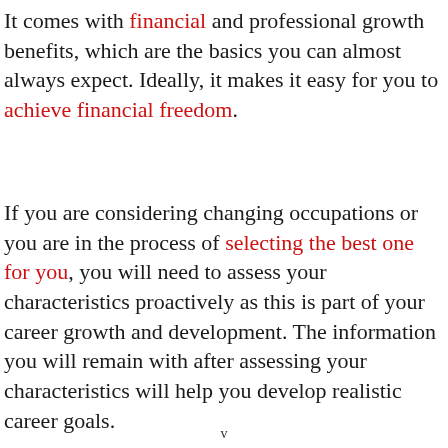It comes with financial and professional growth benefits, which are the basics you can almost always expect. Ideally, it makes it easy for you to achieve financial freedom.
If you are considering changing occupations or you are in the process of selecting the best one for you, you will need to assess your characteristics proactively as this is part of your career growth and development. The information you will remain with after assessing your characteristics will help you develop realistic career goals.
v